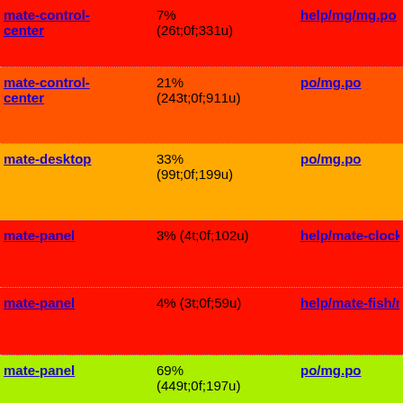| Package | Translation % | File |
| --- | --- | --- |
| mate-control-center | 7% (26t;0f;331u) | help/mg/mg.po |
| mate-control-center | 21% (243t;0f;911u) | po/mg.po |
| mate-desktop | 33% (99t;0f;199u) | po/mg.po |
| mate-panel | 3% (4t;0f;102u) | help/mate-clock/mg/mg... |
| mate-panel | 4% (3t;0f;59u) | help/mate-fish/mg/mg.p... |
| mate-panel | 69% (449t;0f;197u) | po/mg.po |
| muffin | 99% | po/mg.po |